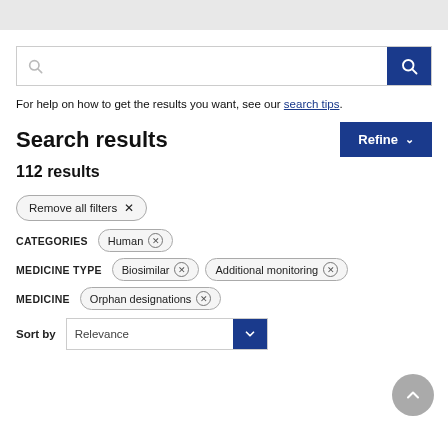For help on how to get the results you want, see our search tips.
Search results
112 results
Remove all filters ×
CATEGORIES  Human ×
MEDICINE TYPE  Biosimilar ×  Additional monitoring ×
MEDICINE  Orphan designations ×
Sort by  Relevance